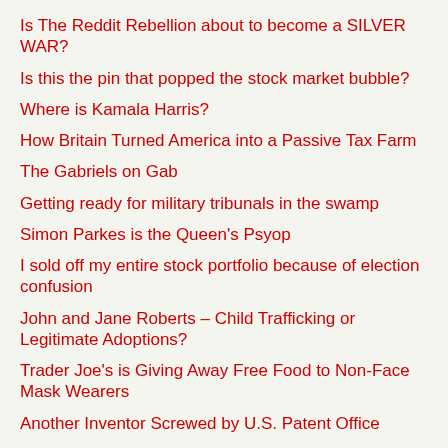Is The Reddit Rebellion about to become a SILVER WAR?
Is this the pin that popped the stock market bubble?
Where is Kamala Harris?
How Britain Turned America into a Passive Tax Farm
The Gabriels on Gab
Getting ready for military tribunals in the swamp
Simon Parkes is the Queen's Psyop
I sold off my entire stock portfolio because of election confusion
John and Jane Roberts – Child Trafficking or Legitimate Adoptions?
Trader Joe's is Giving Away Free Food to Non-Face Mask Wearers
Another Inventor Screwed by U.S. Patent Office
AZ Sec. of State Katie Hobbs takes money from foreign governments and George Soros
Does the CIA Operate the Election Rigging Software Paragon?
A Trump win? Pa. court says Boockvar lacked authority to